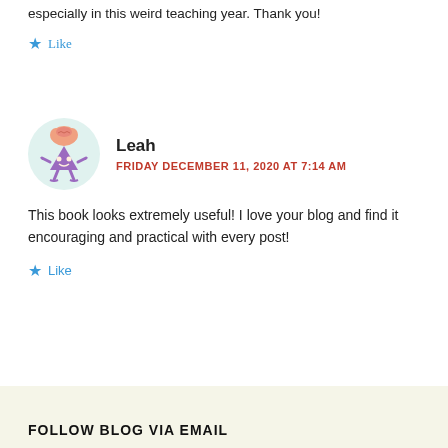especially in this weird teaching year. Thank you!
Like
[Figure (illustration): Blog avatar icon: cartoon brain character shaped like an inverted triangle with a pink brain on top, purple body, and small arms/legs, on a light teal circular background]
Leah
FRIDAY DECEMBER 11, 2020 AT 7:14 AM
This book looks extremely useful! I love your blog and find it encouraging and practical with every post!
Like
FOLLOW BLOG VIA EMAIL